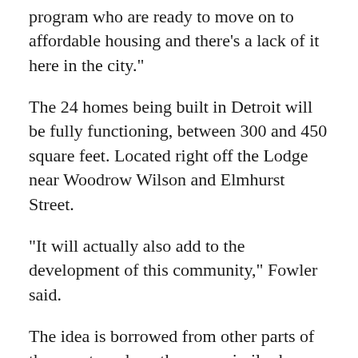program who are ready to move on to affordable housing and there's a lack of it here in the city."
The 24 homes being built in Detroit will be fully functioning, between 300 and 450 square feet. Located right off the Lodge near Woodrow Wilson and Elmhurst Street.
"It will actually also add to the development of this community," Fowler said.
The idea is borrowed from other parts of the country where there are similar homes, like this one in Orlando.
It won't be long until they're up and running, the houses are expected to be built by the end of the summer.
To stay there won't be free. Each resident will be on a